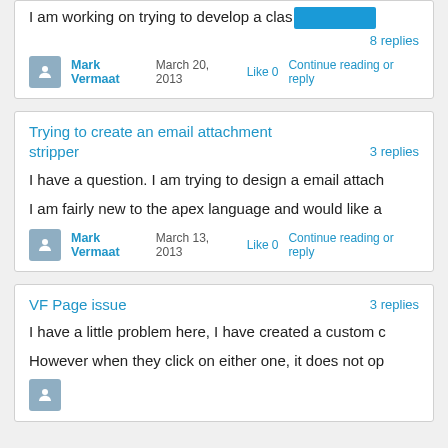I am working on trying to develop a clas…
8 replies
Mark Vermaat   March 20, 2013   Like  0  Continue reading or reply
Trying to create an email attachment stripper
3 replies
I have a question.  I am trying to design a email attach
I am fairly new to the apex language and would like a
Mark Vermaat   March 13, 2013   Like  0  Continue reading or reply
VF Page issue
3 replies
I have a little problem here, I have created a custom c
However when they click on either one, it does not op